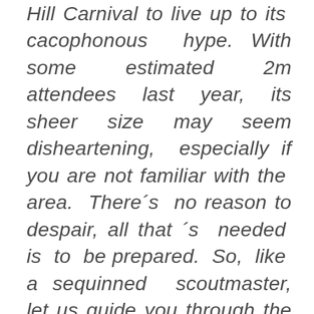Hill Carnival to live up to its cacophonous hype. With some estimated 2m attendees last year, its sheer size may seem disheartening, especially if you are not familiar with the area. There´s no reason to despair, all that ´s needed is to be prepared. So, like a sequinned scoutmaster, let us guide you through the labyrinth of wonders that await you. Don't